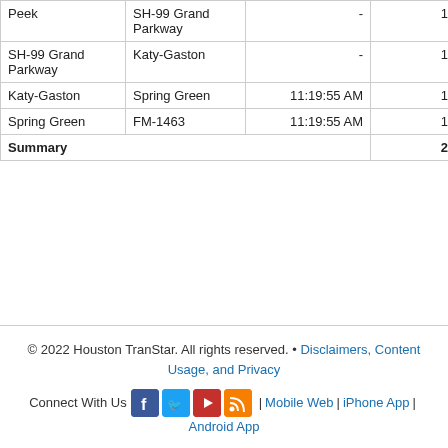| From | To | Time | Miles | Duration |
| --- | --- | --- | --- | --- |
| Peek | SH-99 Grand Parkway | - | 1.10 |  |
| SH-99 Grand Parkway | Katy-Gaston | - | 1.90 |  |
| Katy-Gaston | Spring Green | 11:19:55 AM | 1.20 | 1:0 |
| Spring Green | FM-1463 | 11:19:55 AM | 1.00 | 00:5 |
| Summary |  |  | 20.6 |  |
© 2022 Houston TranStar. All rights reserved. • Disclaimers, Content Usage, and Privacy
Connect With Us | Mobile Web | iPhone App | Android App